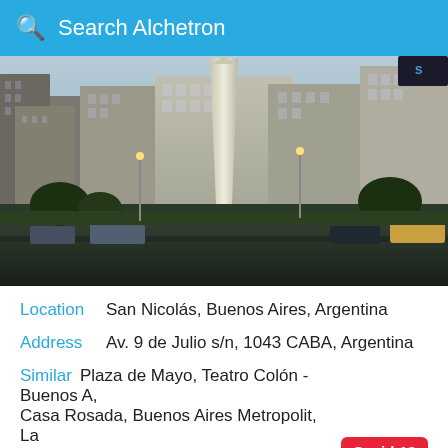Search Alchetron
[Figure (photo): Photo of the Obelisco de Buenos Aires at the intersection of Avenida 9 de Julio, with tall buildings on both sides and traffic in the foreground.]
Location  San Nicolás, Buenos Aires, Argentina
Address  Av. 9 de Julio s/n, 1043 CABA, Argentina
Similar  Plaza de Mayo, Teatro Colón - Buenos A, Casa Rosada, Buenos Aires Metropolit, La Recoleta Cemetery
Covid-19